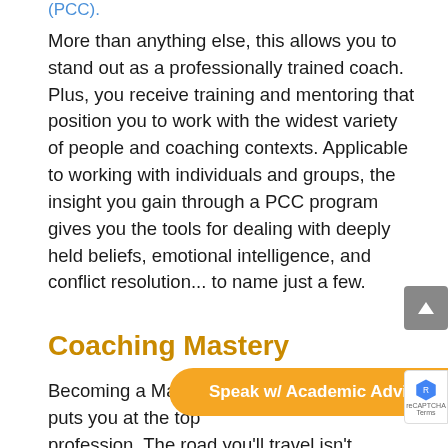(PCC).
More than anything else, this allows you to stand out as a professionally trained coach. Plus, you receive training and mentoring that position you to work with the widest variety of people and coaching contexts. Applicable to working with individuals and groups, the insight you gain through a PCC program gives you the tools for dealing with deeply held beliefs, emotional intelligence, and conflict resolution... to name just a few.
Coaching Mastery
Becoming a Master Certified Coach puts you at the top of the coaching profession. The road you'll travel isn't